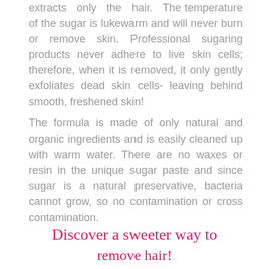extracts only the hair. The temperature of the sugar is lukewarm and will never burn or remove skin. Professional sugaring products never adhere to live skin cells; therefore, when it is removed, it only gently exfoliates dead skin cells- leaving behind smooth, freshened skin!
The formula is made of only natural and organic ingredients and is easily cleaned up with warm water. There are no waxes or resin in the unique sugar paste and since sugar is a natural preservative, bacteria cannot grow, so no contamination or cross contamination.
Discover a sweeter way to remove hair!